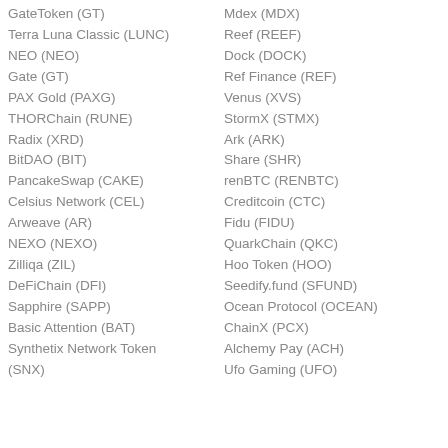GateToken (GT)
Mdex (MDX)
Terra Luna Classic (LUNC)
Reef (REEF)
NEO (NEO)
Dock (DOCK)
Gate (GT)
Ref Finance (REF)
PAX Gold (PAXG)
Venus (XVS)
THORChain (RUNE)
StormX (STMX)
Radix (XRD)
Ark (ARK)
BitDAO (BIT)
Share (SHR)
PancakeSwap (CAKE)
renBTC (RENBTC)
Celsius Network (CEL)
Creditcoin (CTC)
Arweave (AR)
Fidu (FIDU)
NEXO (NEXO)
QuarkChain (QKC)
Zilliqa (ZIL)
Hoo Token (HOO)
DeFiChain (DFI)
Seedify.fund (SFUND)
Sapphire (SAPP)
Ocean Protocol (OCEAN)
Basic Attention (BAT)
ChainX (PCX)
Synthetix Network Token (SNX)
Alchemy Pay (ACH)
Ufo Gaming (UFO)